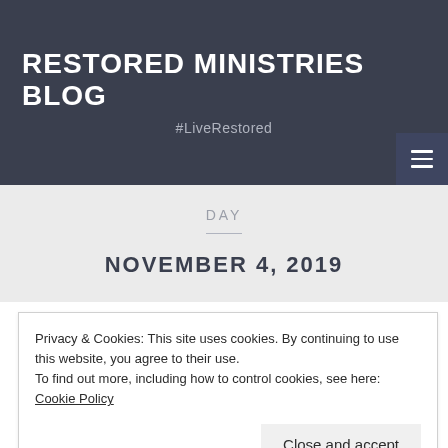RESTORED MINISTRIES BLOG
#LiveRestored
DAY
NOVEMBER 4, 2019
Privacy & Cookies: This site uses cookies. By continuing to use this website, you agree to their use. To find out more, including how to control cookies, see here: Cookie Policy
Close and accept